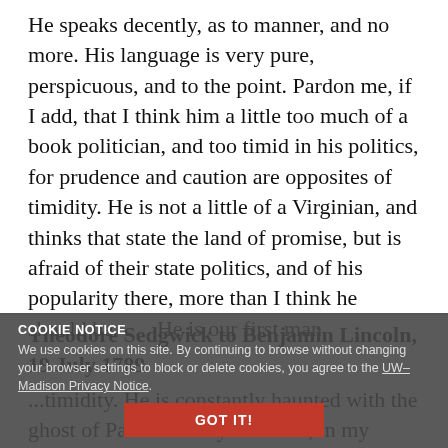He speaks decently, as to manner, and no more. His language is very pure, perspicuous, and to the point. Pardon me, if I add, that I think him a little too much of a book politician, and too timid in his politics, for prudence and caution are opposites of timidity. He is not a little of a Virginian, and thinks that state the land of promise, but is afraid of their state politics, and of his popularity there, more than I think he should be. . . . He is our first man.
Theodore Sedgwick to Benjamin Lincoln, 19 July 1789
...timidity. He is constantly haunted with the ghost of Patrick Henry. No man, in my opinion, in this country has more fair and honorable intentions, or more ardently wishes the